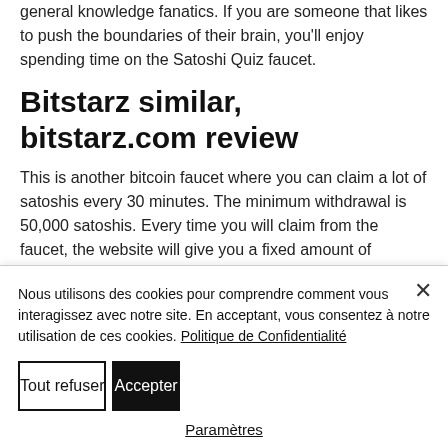general knowledge fanatics. If you are someone that likes to push the boundaries of their brain, you'll enjoy spending time on the Satoshi Quiz faucet.
Bitstarz similar, bitstarz.com review
This is another bitcoin faucet where you can claim a lot of satoshis every 30 minutes. The minimum withdrawal is 50,000 satoshis. Every time you will claim from the faucet, the website will give you a fixed amount of
Nous utilisons des cookies pour comprendre comment vous interagissez avec notre site. En acceptant, vous consentez à notre utilisation de ces cookies. Politique de Confidentialité
Tout refuser
Accepter
Paramètres